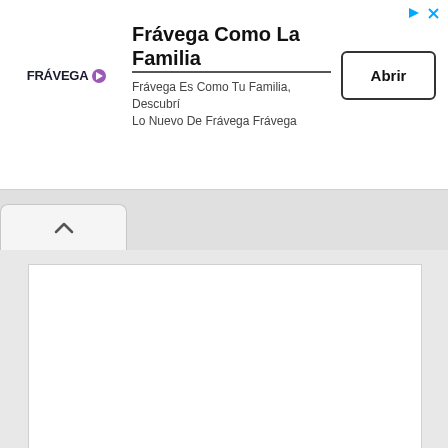[Figure (screenshot): Advertisement banner for Frávega showing logo on left, title 'Frávega Como La Familia', subtitle text, and an 'Abrir' button on the right. Small play and close icons in top-right corner.]
[Figure (screenshot): Browser UI showing a tab with a caret/up-arrow symbol, followed by a large white content panel below with a horizontal divider partway down, and a second white section at the bottom.]